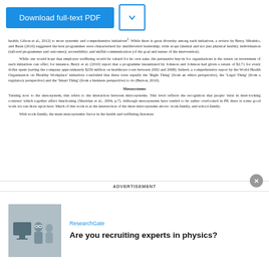[Figure (screenshot): Download full-text PDF button (blue) and a chevron dropdown button (white with blue border)]
health; Gilson et al., 2012) to more systemic and comprehensive initiatives². While there is great diversity among such initiatives, a review by Berry, Mirabito, and Baun (2010) suggested the best programmes were characterised by: multileveled leadership; wide scope (mental and not just physical health); individuation (tailored programmes and outcomes); accessibility; and skilful communication (of the goal and nature of the intervention).
While one would hope that employee wellbeing would be valued for its own sake, the persuasive buy-in for organisations is the return on investment of such initiatives can offer; for instance, Berry et al. (2010) report that a programme instantiated by Johnson and Johnson had given a return of $2.71 for every dollar spent (saving the company approximately $250 million on healthcare costs between 2002 and 2008). Indeed, a comprehensive report by the World Health Organization on 'Healthy Workplace' initiatives concluded that these were equally the 'Right Thing' (from an ethics perspective), the 'Legal Thing' (from a regulatory perspective) and the 'Smart Thing' (from a business perspective) to do (Burton, 2010).
Mesosystems
Turning now to the mesosystem, this refers to the interaction between microsystems. This level reflects the recognition that people 'exist in inter-locking contexts' which together affect functioning (Sheridan et al., 2004, p.7). Although mesosystems have tended to be rather overlooked in PP, there is some good work we can draw upon here. Much of this work is at the intersection of the three microsystems above: work-family, and school-family.
With work-family, the main mesosystemic factor in the health and wellbeing literature
ADVERTISEMENT
ResearchGate
Are you recruiting experts in physics?